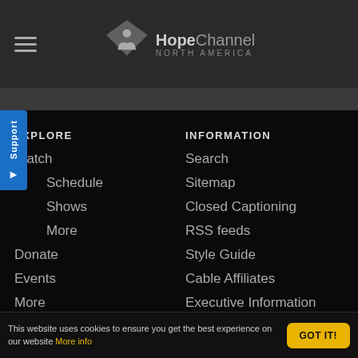HopeChannel NORTH AMERICA
EXPLORE
Watch
Schedule
Shows
More
Donate
Events
More
INFORMATION
Search
Sitemap
Closed Captioning
RSS feeds
Style Guide
Cable Affiliates
Executive Information
SOCIAL
ABOUT
This website uses cookies to ensure you get the best experience on our website More info GOT IT!